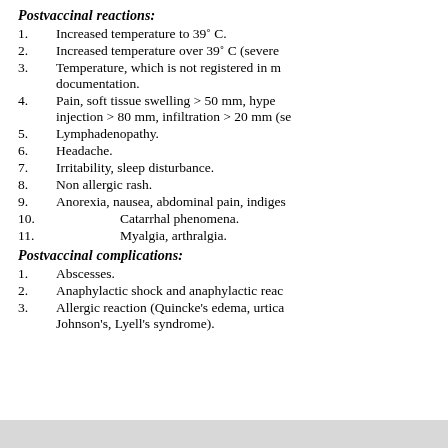Postvaccinal reactions:
1. Increased temperature to 39˚ C.
2. Increased temperature over 39˚ C (severe
3. Temperature, which is not registered in m documentation.
4. Pain, soft tissue swelling > 50 mm, hype injection > 80 mm, infiltration > 20 mm (se
5. Lymphadenopathy.
6. Headache.
7. Irritability, sleep disturbance.
8. Non allergic rash.
9. Anorexia, nausea, abdominal pain, indiges
10. Catarrhal phenomena.
11. Myalgia, arthralgia.
Postvaccinal complications:
1. Abscesses.
2. Anaphylactic shock and anaphylactic reac
3. Allergic reaction (Quincke's edema, urtica Johnson's, Lyell's syndrome).